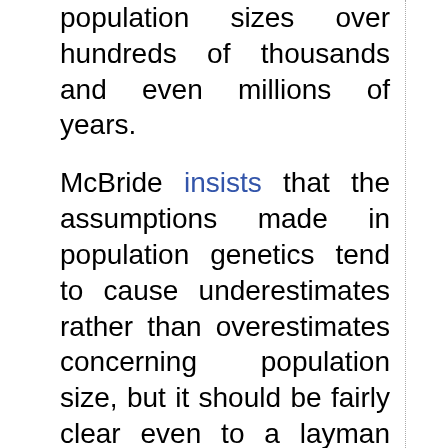population sizes over hundreds of thousands and even millions of years.
McBride insists that the assumptions made in population genetics tend to cause underestimates rather than overestimates concerning population size, but it should be fairly clear even to a layman that this is by no means necessarily the